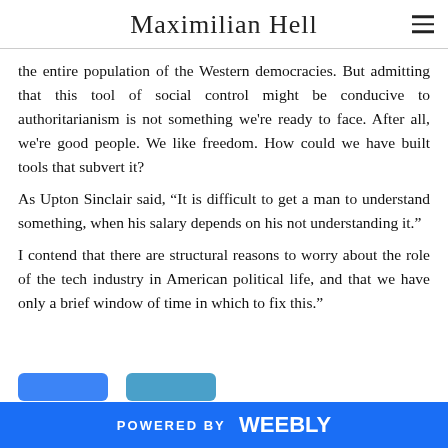Maximilian Hell
the entire population of the Western democracies. But admitting that this tool of social control might be conducive to authoritarianism is not something we're ready to face. After all, we're good people. We like freedom. How could we have built tools that subvert it?
As Upton Sinclair said, “It is difficult to get a man to understand something, when his salary depends on his not understanding it.”
I contend that there are structural reasons to worry about the role of the tech industry in American political life, and that we have only a brief window of time in which to fix this.”
POWERED BY weebly